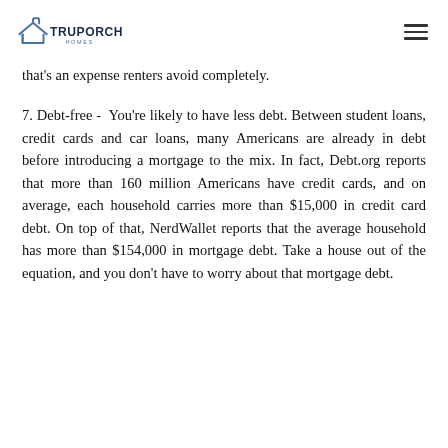TRUPORCH HOMES
that's an expense renters avoid completely.
7. Debt-free - You're likely to have less debt. Between student loans, credit cards and car loans, many Americans are already in debt before introducing a mortgage to the mix. In fact, Debt.org reports that more than 160 million Americans have credit cards, and on average, each household carries more than $15,000 in credit card debt. On top of that, NerdWallet reports that the average household has more than $154,000 in mortgage debt. Take a house out of the equation, and you don't have to worry about that mortgage debt.